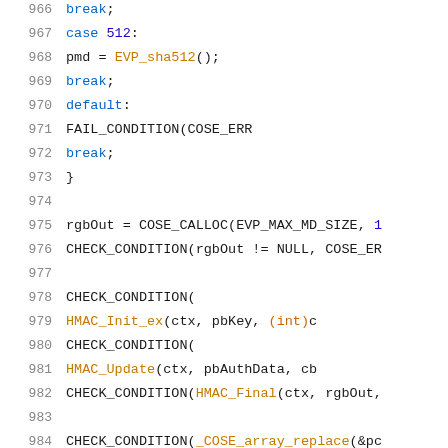[Figure (screenshot): Source code listing showing C code lines 966-987 with syntax highlighting. Lines include break statements, case 512, pmd = EVP_sha512(), default, FAIL_CONDITION, closing brace, rgbOut = COSE_CALLOC, CHECK_CONDITION calls with HMAC_Init_ex, HMAC_Update, HMAC_Final, and _COSE_array_replace.]